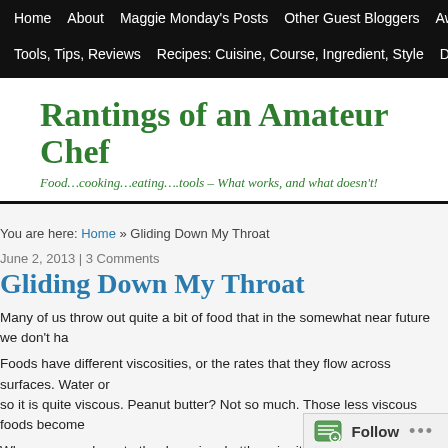Home | About | Maggie Monday's Posts | Other Guest Bloggers | Awar... | Tools, Tips, Reviews | Recipes: Cuisine, Course, Ingredient, Style | Diet
Rantings of an Amateur Chef
Food…cooking…eating….tools – What works, and what doesn't!
You are here: Home » Gliding Down My Throat
June 2, 2013 | 3 Comments
Gliding Down My Throat
Many of us throw out quite a bit of food that in the somewhat near future we don't ha...
Foods have different viscosities, or the rates that they flow across surfaces. Water o... so it is quite viscous. Peanut butter? Not so much. Those less viscous foods become...
When you are down to the dregs in a bottle or jar it often becomes quite an effort to s... by scraping all the sides and bottom of a jar or bottle. In some cases, like ketchup, yo...